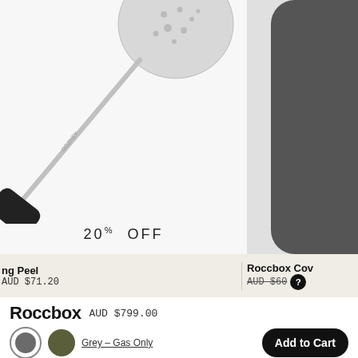[Figure (photo): Pizza peel with round aluminum head and black rubber handle on white/light grey background]
[Figure (photo): Partially visible dark grey Roccbox cover on right side]
20% OFF
ng Peel
AUD $71.20
Roccbox Cov
AUD $60
Roccbox AUD $799.00
Grey – Gas Only
Add to Cart